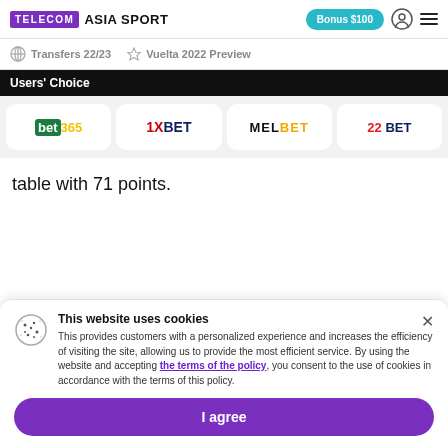TELECOM ASIA SPORT | Bonus $100
Transfers 22/23   Vuelta 2022 Preview
Users' Choice
[Figure (logo): Row of bookmaker logos: bet365, 1XBET, MELBET, 22BET]
table with 71 points.
This website uses cookies
This provides customers with a personalized experience and increases the efficiency of visiting the site, allowing us to provide the most efficient service. By using the website and accepting the terms of the policy, you consent to the use of cookies in accordance with the terms of this policy.
I agree